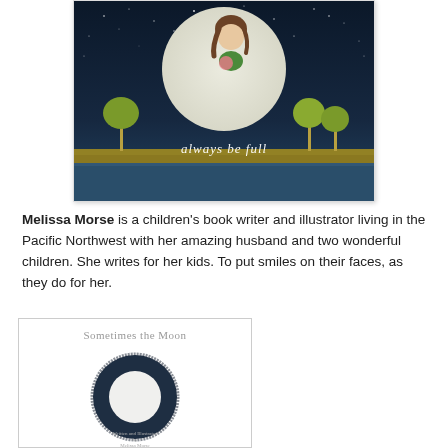[Figure (illustration): Children's book cover showing a night sky scene with a large moon, a character sitting on the moon, stylized green trees, a golden-brown ground, and reflective water. Text reads 'always be full' at the bottom in white italic letters.]
Melissa Morse is a children's book writer and illustrator living in the Pacific Northwest with her amazing husband and two wonderful children. She writes for her kids. To put smiles on their faces, as they do for her.
[Figure (illustration): Children's book cover titled 'Sometimes the Moon' showing a dark circular moon ring shape with a white circle center, on white background, credited to Melissa Morse.]